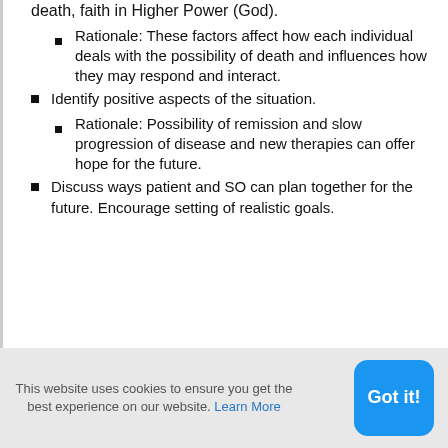death, faith in Higher Power (God).
Rationale: These factors affect how each individual deals with the possibility of death and influences how they may respond and interact.
Identify positive aspects of the situation.
Rationale: Possibility of remission and slow progression of disease and new therapies can offer hope for the future.
Discuss ways patient and SO can plan together for the future. Encourage setting of realistic goals.
This website uses cookies to ensure you get the best experience on our website. Learn More
Got it!